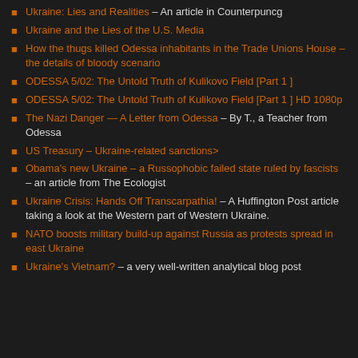Ukraine: Lies and Realities – An article in Counterpuncg
Ukraine and the Lies of the U.S. Media
How the thugs killed Odessa inhabitants in the Trade Unions House – the details of bloody scenario
ODESSA 5/02: The Untold Truth of Kulikovo Field [Part 1 ]
ODESSA 5/02: The Untold Truth of Kulikovo Field [Part 1 ] HD 1080p
The Nazi Danger — A Letter from Odessa – By T., a Teacher from Odessa
US Treasury – Ukraine-related sanctions>
Obama's new Ukraine – a Russophobic failed state ruled by fascists – an article from The Ecologist
Ukraine Crisis: Hands Off Transcarpathia! – A Huffington Post article taking a look at the Western part of Western Ukraine.
NATO boosts military build-up against Russia as protests spread in east Ukraine
Ukraine's Vietnam? – a very well-written analytical blog post